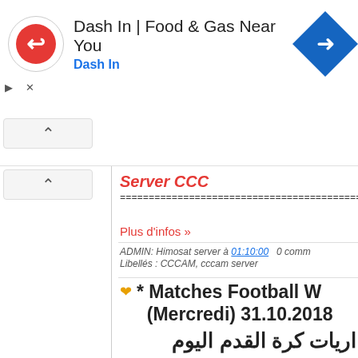[Figure (screenshot): Ad banner for Dash In | Food & Gas Near You with Dash In logo circle and blue navigation map icon]
Dash In | Food & Gas Near You
Dash In
Server CCC
=================================================
Plus d'infos »
ADMIN: Himosat server à 01:10:00   0 comm
Libellés : CCCAM, cccam server
* Matches Football W (Mercredi) 31.10.2018
اريات كرة القدم اليوم
Matches Football